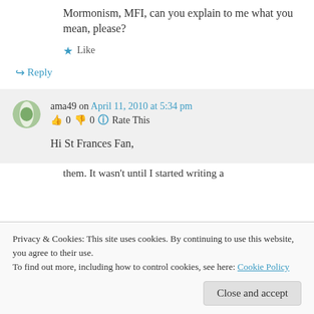Mormonism, MFI, can you explain to me what you mean, please?
★ Like
↪ Reply
ama49 on April 11, 2010 at 5:34 pm
👍 0 👎 0 ℹ Rate This
Hi St Frances Fan,
Privacy & Cookies: This site uses cookies. By continuing to use this website, you agree to their use. To find out more, including how to control cookies, see here: Cookie Policy
Close and accept
them. It wasn't until I started writing a